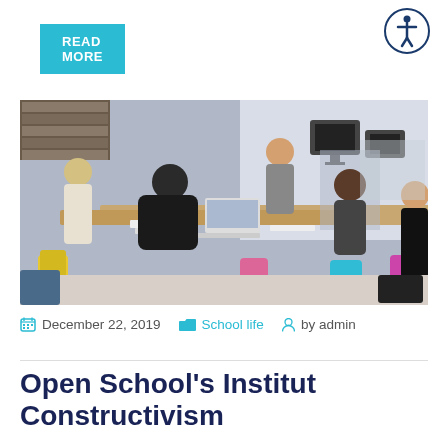READ MORE
[Figure (photo): Students and a teacher working around a large table in a school library/classroom, with laptops, books, and papers. Some figures are motion-blurred.]
December 22, 2019   School life   by admin
Open School's Institut Constructivism